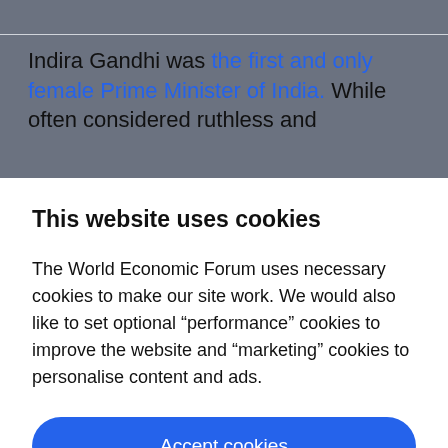Indira Gandhi was the first and only female Prime Minister of India. While often considered ruthless and
This website uses cookies
The World Economic Forum uses necessary cookies to make our site work. We would also like to set optional “performance” cookies to improve the website and “marketing” cookies to personalise content and ads.
Accept cookies
Reject cookies
Cookie settings